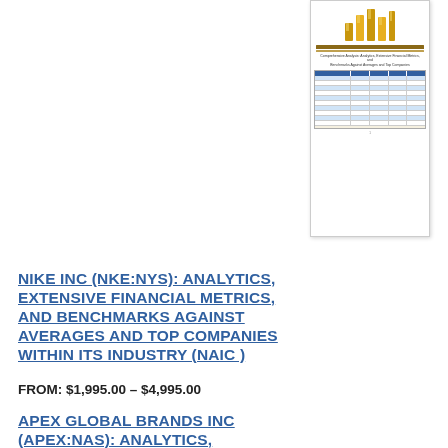[Figure (illustration): Thumbnail of a financial benchmark report cover with gold bar chart icon and table rows, shown at top right]
NIKE INC (NKE:NYS): ANALYTICS, EXTENSIVE FINANCIAL METRICS, AND BENCHMARKS AGAINST AVERAGES AND TOP COMPANIES WITHIN ITS INDUSTRY (NAIC )
FROM: $1,995.00 – $4,995.00
[Figure (illustration): Thumbnail of a financial benchmark report cover with gold bar chart icon and table rows, shown at mid right]
APEX GLOBAL BRANDS INC (APEX:NAS): ANALYTICS, EXTENSIVE FINANCIAL